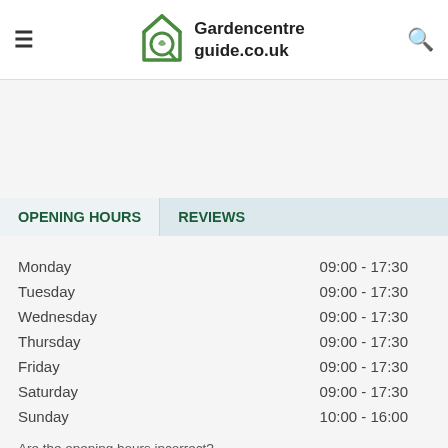Gardencentreguide.co.uk
OPENING HOURS   REVIEWS
| Day | Hours |
| --- | --- |
| Monday | 09:00 - 17:30 |
| Tuesday | 09:00 - 17:30 |
| Wednesday | 09:00 - 17:30 |
| Thursday | 09:00 - 17:30 |
| Friday | 09:00 - 17:30 |
| Saturday | 09:00 - 17:30 |
| Sunday | 10:00 - 16:00 |
Are the opening hours incorrect?